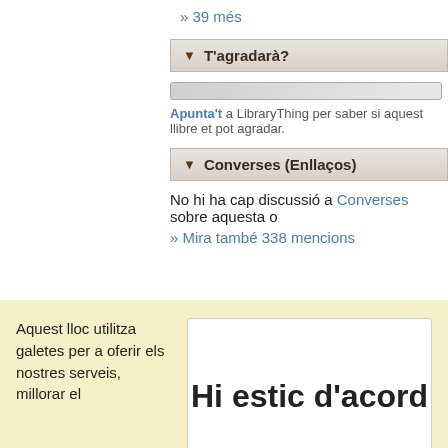» 39 més
▼ T'agradarà?
Apunta't a LibraryThing per saber si aquest llibre et pot agradar.
▼ Converses (Enllaços)
No hi ha cap discussió a Converses sobre aquesta o
» Mira també 338 mencions
Aquest lloc utilitza galetes per a oferir els nostres serveis, millorar el
[Figure (other): Hi estic d'acord button - large white button with bold text]
desenvolupament, per a anàlisis i (si no has iniciat la sessió) per a publicitat. Utilitzant LibraryThing acceptes que has llegit i entès els nostres Termes de servei i politica de privacitat. L'ús que facis del lloc i dels seus serveis està subjecte a aquestes politiques i termes.